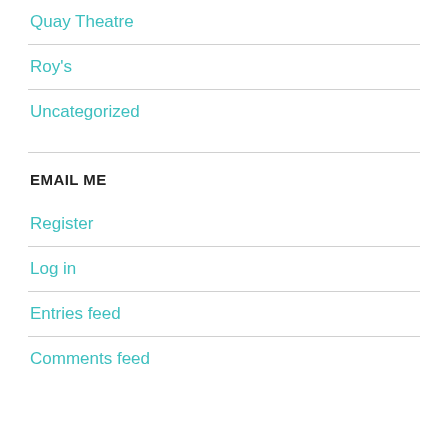Quay Theatre
Roy's
Uncategorized
EMAIL ME
Register
Log in
Entries feed
Comments feed